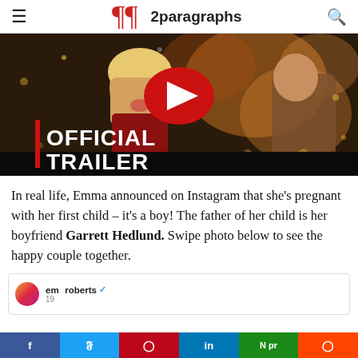2paragraphs
[Figure (screenshot): YouTube-style video thumbnail showing two people with snow/bokeh effect, overlaid with 'OFFICIAL TRAILER' text and a YouTube play button]
In real life, Emma announced on Instagram that she's pregnant with her first child – it's a boy! The father of her child is her boyfriend Garrett Hedlund. Swipe photo below to see the happy couple together.
[Figure (screenshot): Instagram embed strip showing emmaroberts account with verified badge]
Share bar: Facebook, Twitter, Pinterest, LinkedIn, N pr, Reddit